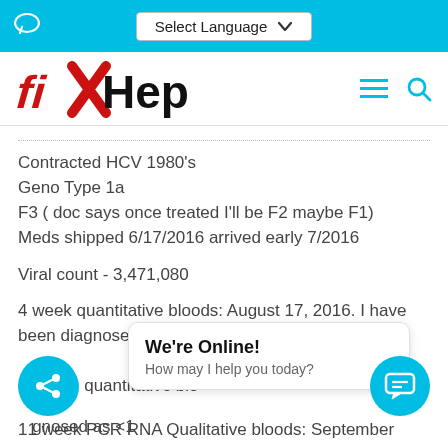Select Language  [chat icon]
[Figure (logo): fixHepC logo — stylized red italic 'fix' with X and black 'HepC']
Contracted HCV 1980's
Geno Type 1a
F3 ( doc says once treated I'll be F2 maybe F1)
Meds shipped 6/17/2016 arrived early 7/2016
Viral count - 3,471,080
4 week quantitative bloods: August 17, 2016. I have been diagnosed as <15 (told undetected)
8 week quantitative bloods: ... diagnosed as <15
We're Online! How may I help you today?
11 week PCR RNA Qualitative bloods: September